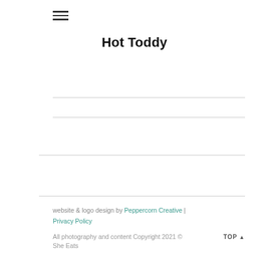≡
Hot Toddy
website & logo design by Peppercorn Creative | Privacy Policy
All photography and content Copyright 2021 © She Eats
TOP ▲